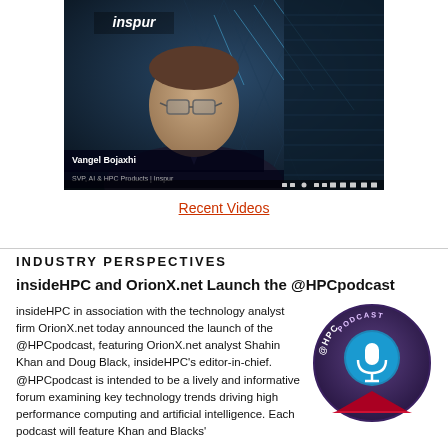[Figure (screenshot): Video thumbnail showing Vangel Bojaxhi in front of a data center background with Inspur logo. Caption text reads 'Vangel Bojaxhi' and subtitle shows 'SVP, AI & HPC Products | Inspur'.]
Recent Videos
INDUSTRY PERSPECTIVES
insideHPC and OrionX.net Launch the @HPCpodcast
insideHPC in association with the technology analyst firm OrionX.net today announced the launch of the @HPCpodcast, featuring OrionX.net analyst Shahin Khan and Doug Black, insideHPC's editor-in-chief. @HPCpodcast is intended to be a lively and informative forum examining key technology trends driving high performance computing and artificial intelligence. Each podcast will feature Khan and Blacks'
[Figure (logo): Circular @HPCpodcast logo with purple/dark background, microphone icon, and @HPCPODCAST text around the edge with a red triangle at the bottom.]